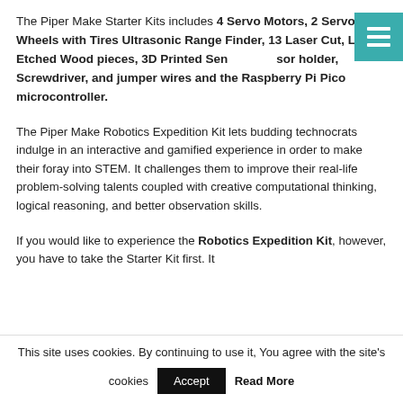The Piper Make Starter Kits includes 4 Servo Motors, 2 Servo Wheels with Tires Ultrasonic Range Finder, 13 Laser Cut, Laser Etched Wood pieces, 3D Printed Sensor holder, Screwdriver, and jumper wires and the Raspberry Pi Pico microcontroller.
The Piper Make Robotics Expedition Kit lets budding technocrats indulge in an interactive and gamified experience in order to make their foray into STEM. It challenges them to improve their real-life problem-solving talents coupled with creative computational thinking, logical reasoning, and better observation skills.
If you would like to experience the Robotics Expedition Kit, however, you have to take the Starter Kit first. It
This site uses cookies. By continuing to use it, You agree with the site's cookies Accept Read More